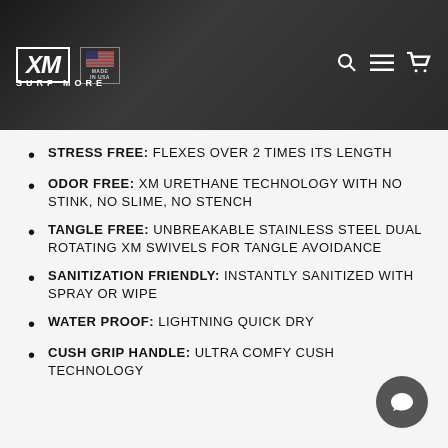[Figure (screenshot): XM Surf More website header with logo, 'Made in USA' badge, search icon, hamburger menu, and cart icon on dark background]
STRESS FREE: FLEXES OVER 2 TIMES ITS LENGTH
ODOR FREE: XM URETHANE TECHNOLOGY WITH NO STINK, NO SLIME, NO STENCH
TANGLE FREE: UNBREAKABLE STAINLESS STEEL DUAL ROTATING XM SWIVELS FOR TANGLE AVOIDANCE
SANITIZATION FRIENDLY: INSTANTLY SANITIZED WITH SPRAY OR WIPE
WATER PROOF: LIGHTNING QUICK DRY
CUSH GRIP HANDLE: ULTRA COMFY CUSH TECHNOLOGY